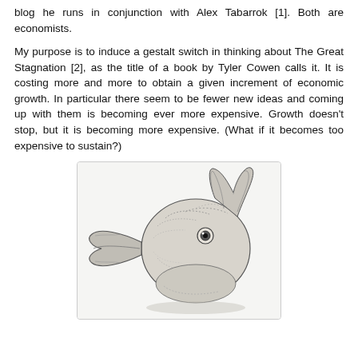blog he runs in conjunction with Alex Tabarrok [1]. Both are economists.
My purpose is to induce a gestalt switch in thinking about The Great Stagnation [2], as the title of a book by Tyler Cowen calls it. It is costing more and more to obtain a given increment of economic growth. In particular there seem to be fewer new ideas and coming up with them is becoming ever more expensive. Growth doesn’t stop, but it is becoming more expensive. (What if it becomes too expensive to sustain?)
[Figure (illustration): Classic duck-rabbit optical illusion drawing — a head that can be perceived as either a duck (beak pointing left) or a rabbit (ears pointing right).]